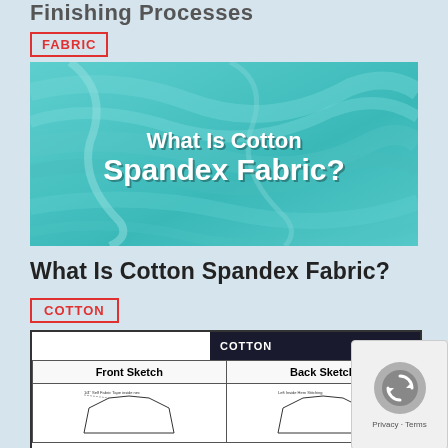Finishing Processes
FABRIC
[Figure (photo): Teal/turquoise cotton spandex fabric draped with text overlay reading 'What Is Cotton Spandex Fabric?']
What Is Cotton Spandex Fabric?
COTTON
[Figure (table-as-image): Cotton spec sheet preview showing a table with Front Sketch and Back Sketch columns, with technical garment sketches inside the cells. Header bar reads COTTON in white on dark background.]